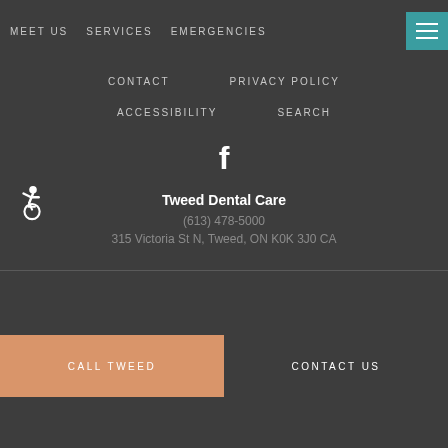MEET US   SERVICES   EMERGENCIES
CONTACT
PRIVACY POLICY
ACCESSIBILITY
SEARCH
[Figure (logo): Facebook 'f' icon in white]
[Figure (illustration): Wheelchair accessibility icon in white]
Tweed Dental Care
(613) 478-5000
315 Victoria St N, Tweed, ON K0K 3J0 CA
CALL TWEED
CONTACT US